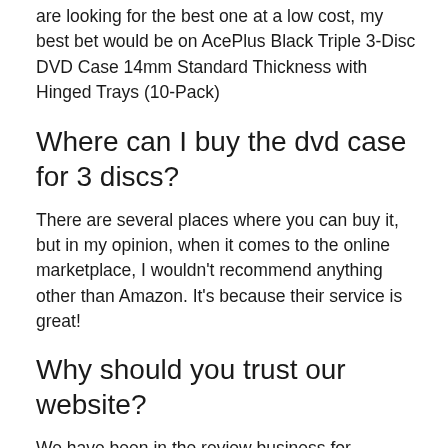are looking for the best one at a low cost, my best bet would be on AcePlus Black Triple 3-Disc DVD Case 14mm Standard Thickness with Hinged Trays (10-Pack)
Where can I buy the dvd case for 3 discs?
There are several places where you can buy it, but in my opinion, when it comes to the online marketplace, I wouldn't recommend anything other than Amazon. It's because their service is great!
Why should you trust our website?
We have been in the review business for